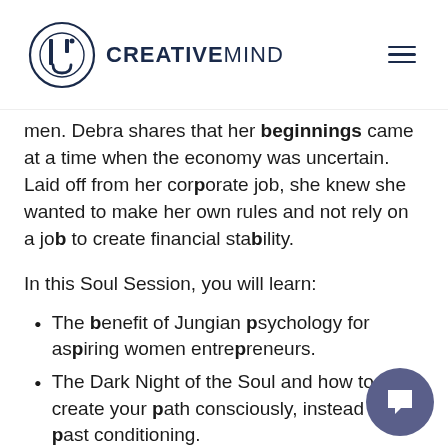CREATIVEMIND
men. Debra shares that her beginnings came at a time when the economy was uncertain. Laid off from her corporate job, she knew she wanted to make her own rules and not rely on a job to create financial stability.
In this Soul Session, you will learn:
The benefit of Jungian psychology for aspiring women entrepreneurs.
The Dark Night of the Soul and how to create your path consciously, instead of by past conditioning.
How to step into a leadership role in your community to inspire other